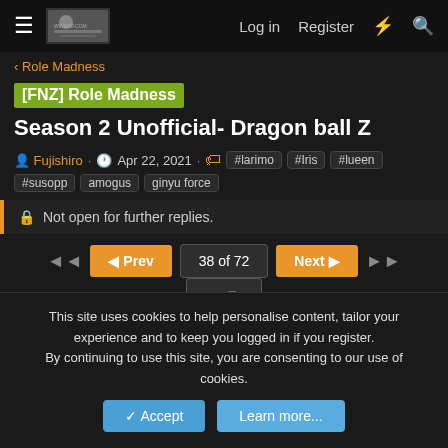≡  [site banner]  Log in  Register  ⚡  🔍
< Role Madness
[FNZ] Role Madness  Season 2 Unofficial- Dragon ball Z
Fujishiro · Apr 22, 2021 · #larimo #Iris #lueen #susopp amogus ginyu force
🔒 Not open for further replies.
◄◄  ◄ Prev  38 of 72  Next ►  ►►  ...▼
Finalbeta   Science Nerd 🍊🍊🍊 ✿